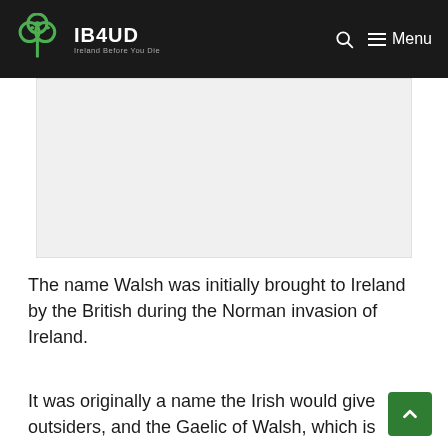IB4UD — Ireland Before You Die
[Figure (other): Advertisement placeholder area — light grey rectangle]
The name Walsh was initially brought to Ireland by the British during the Norman invasion of Ireland.
It was originally a name the Irish would give outsiders, and the Gaelic of Walsh, which is 'Breathnach', loosely translates to 'Briton'.